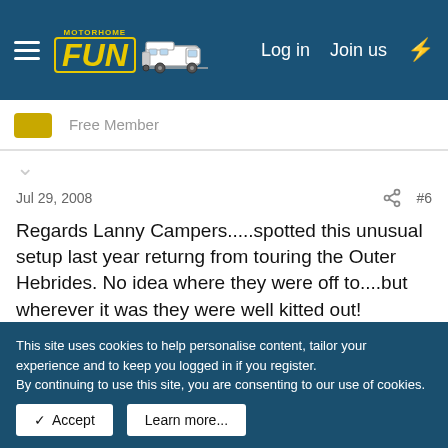Motorhome Fun — Log in | Join us
Free Member
Jul 29, 2008   #6
Regards Lanny Campers.....spotted this unusual setup last year returng from touring the Outer Hebrides. No idea where they were off to....but wherever it was they were well kitted out!
[Figure (illustration): Partial view of a yellow smiley face emoji with tearful/sad eyes and black outlines, cropped at bottom]
This site uses cookies to help personalise content, tailor your experience and to keep you logged in if you register.
By continuing to use this site, you are consenting to our use of cookies.